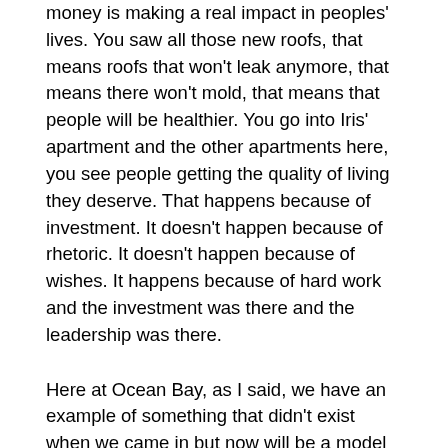money is making a real impact in peoples' lives. You saw all those new roofs, that means roofs that won't leak anymore, that means there won't mold, that means that people will be healthier. You go into Iris' apartment and the other apartments here, you see people getting the quality of living they deserve. That happens because of investment. It doesn't happen because of rhetoric. It doesn't happen because of wishes. It happens because of hard work and the investment was there and the leadership was there.
Here at Ocean Bay, as I said, we have an example of something that didn't exist when we came in but now will be a model that we can use all over the City. And I want to remind people that this development went through so much, the safety problems, Sandy, but it was possible to bring it back with the right plan and you're seeing it before your very eyes.
Shola believed early on in the concept of RAD, which